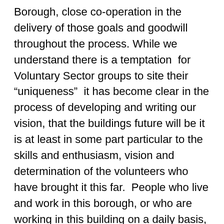Borough, close co-operation in the delivery of those goals and goodwill throughout the process. While we understand there is a temptation  for Voluntary Sector groups to site their “uniqueness”  it has become clear in the process of developing and writing our vision, that the buildings future will be it is at least in some part particular to the skills and enthusiasm, vision and determination of the volunteers who have brought it this far.  People who live and work in this borough, or who are working in this building on a daily basis, have imagination, enthusiasm and commitment to prosperity of both the building, and for all the people of Hackney that cannot be readily captured in purely economic terms.  Our belief is that the in kind voluntary contribution of Hackney residents, and people working in the Old Fire Station, supported by expertise from groups like ELBA or HCVS, is of huge value. We want to